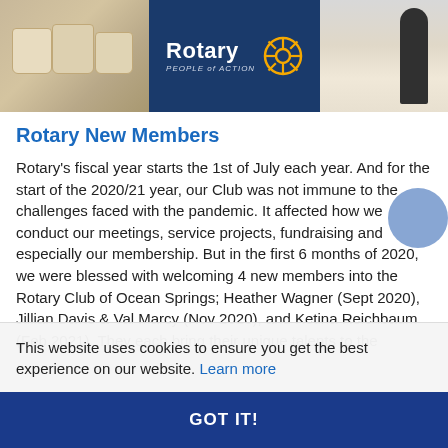[Figure (photo): Banner image showing Rotary logo with 'People of Action' tagline on dark blue background, flanked by photos of bags/supplies on the left and a person silhouette on the right]
Rotary New Members
Rotary’s fiscal year starts the 1st of July each year. And for the start of the 2020/21 year, our Club was not immune to the challenges faced with the pandemic.  It affected how we conduct our meetings, service projects, fundraising and especially our membership.  But in the first 6 months of 2020, we were blessed with welcoming 4 new members into the Rotary Club of Ocean Springs; Heather Wagner (Sept 2020), Jillian Davis & Val Marcy (Nov 2020), and Ketina Reichbaum (Feb 2021).  They each bring their unique talents to the
This website uses cookies to ensure you get the best experience on our website. Learn more
GOT IT!